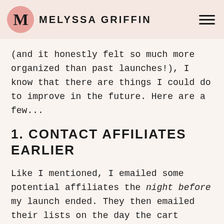MELYSSA GRIFFIN
(and it honestly felt so much more organized than past launches!), I know that there are things I could do to improve in the future. Here are a few...
1. CONTACT AFFILIATES EARLIER
Like I mentioned, I emailed some potential affiliates the night before my launch ended. They then emailed their lists on the day the cart closed. I am